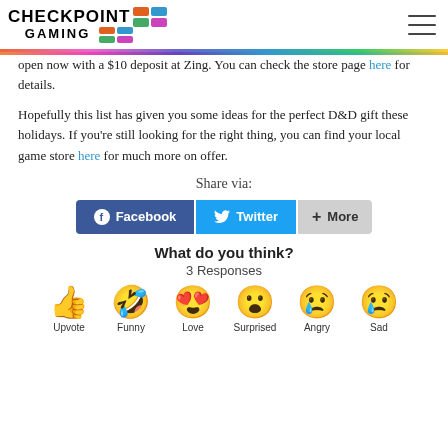Checkpoint Gaming
open now with a $10 deposit at Zing. You can check the store page here for details.
Hopefully this list has given you some ideas for the perfect D&D gift these holidays. If you're still looking for the right thing, you can find your local game store here for much more on offer.
Share via:
[Figure (infographic): Share buttons for Facebook, Twitter, and More]
What do you think?
3 Responses
[Figure (infographic): Six emoji reaction buttons: Upvote (thumbs up), Funny (laughing face with tongue), Love (heart eyes), Surprised (surprised face), Angry (crying angry face), Sad (sad face with tear)]